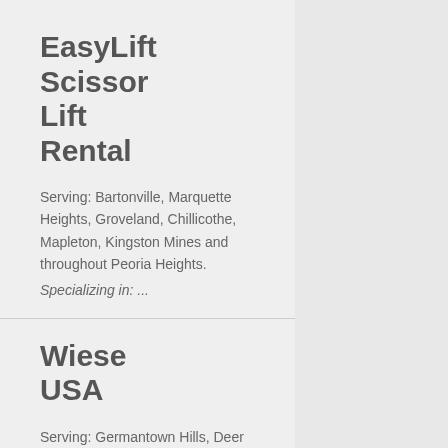EasyLift Scissor Lift Rental
Serving: Bartonville, Marquette Heights, Groveland, Chillicothe, Mapleton, Kingston Mines and throughout Peoria Heights.
Specializing in: ...
Wiese USA
Serving: Germantown Hills, Deer Creek, Goodfield, Brimfield, Wyoming, Stanford and throughout Peoria Heights.